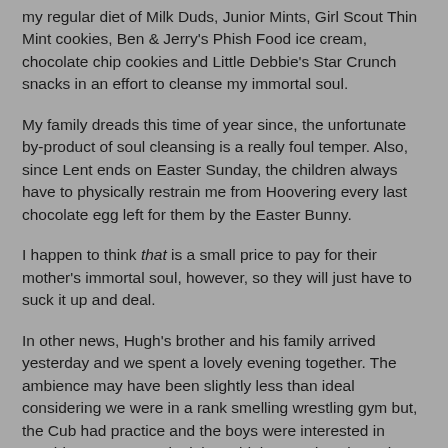my regular diet of Milk Duds, Junior Mints, Girl Scout Thin Mint cookies, Ben & Jerry's Phish Food ice cream, chocolate chip cookies and Little Debbie's Star Crunch snacks in an effort to cleanse my immortal soul.
My family dreads this time of year since, the unfortunate by-product of soul cleansing is a really foul temper. Also, since Lent ends on Easter Sunday, the children always have to physically restrain me from Hoovering every last chocolate egg left for them by the Easter Bunny.
I happen to think that is a small price to pay for their mother's immortal soul, however, so they will just have to suck it up and deal.
In other news, Hugh's brother and his family arrived yesterday and we spent a lovely evening together. The ambience may have been slightly less than ideal considering we were in a rank smelling wrestling gym but, the Cub had practice and the boys were interested in watching, so... never let it be said that we don't know how to entertain our guests.